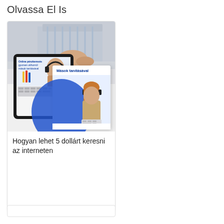Olvassa El Is
[Figure (illustration): Card with composite image: person at laptop/desk background (gray/blue tones), tablet device showing online money-making guide, overlapping card titled 'Mások tanításával' with woman wearing headphones]
Hogyan lehet 5 dollárt keresni az interneten